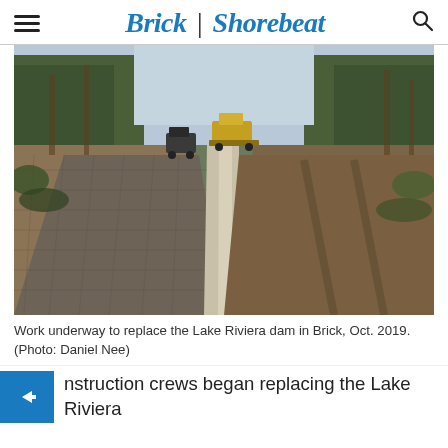Brick | Shorebeat
[Figure (photo): Construction work underway on the Lake Riviera dam in Brick, NJ. A long concrete divider/channel runs down the center of a cleared earthen roadway flanked by trees. Construction vehicles including a bulldozer are visible in the background. October 2019.]
Work underway to replace the Lake Riviera dam in Brick, Oct. 2019. (Photo: Daniel Nee)
nstruction crews began replacing the Lake Riviera